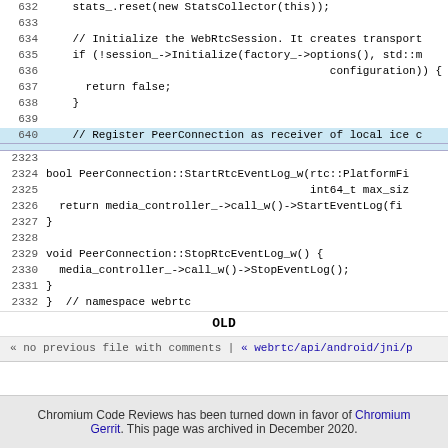[Figure (screenshot): Code review screenshot showing C++ source code with line numbers 632-640 and 2323-2332, with line 640 highlighted in blue. Shows WebRTC PeerConnection implementation code including StartRtcEventLog_w and StopRtcEventLog_w functions. Below code is an OLD label and navigation bar.]
[Figure (logo): Powered by Google App Engine logo]
Chromium Code Reviews has been turned down in favor of Chromium Gerrit. This page was archived in December 2020.